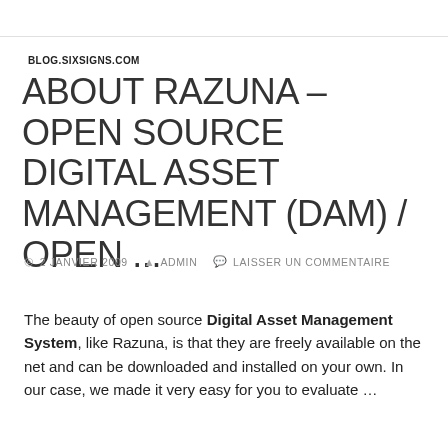BLOG.SIXSIGNS.COM
ABOUT RAZUNA – OPEN SOURCE DIGITAL ASSET MANAGEMENT (DAM) / OPEN ...
2 JANVIER 2009   ADMIN   LAISSER UN COMMENTAIRE
The beauty of open source Digital Asset Management System, like Razuna, is that they are freely available on the net and can be downloaded and installed on your own. In our case, we made it very easy for you to evaluate ...